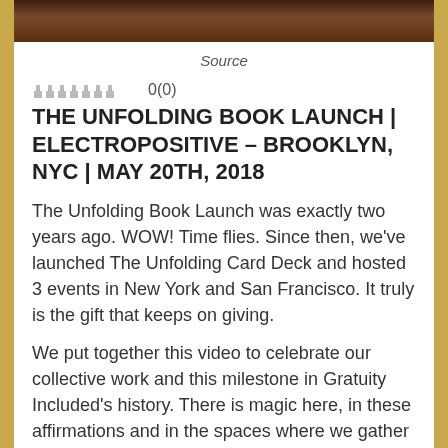[Figure (photo): Cropped photo strip showing people at an event]
Source
0(0)
THE UNFOLDING BOOK LAUNCH | ELECTROPOSITIVE – BROOKLYN, NYC | MAY 20TH, 2018
The Unfolding Book Launch was exactly two years ago. WOW! Time flies. Since then, we've launched The Unfolding Card Deck and hosted 3 events in New York and San Francisco. It truly is the gift that keeps on giving.
We put together this video to celebrate our collective work and this milestone in Gratuity Included's history. There is magic here, in these affirmations and in the spaces where we gather to share. We see it working its way around the world